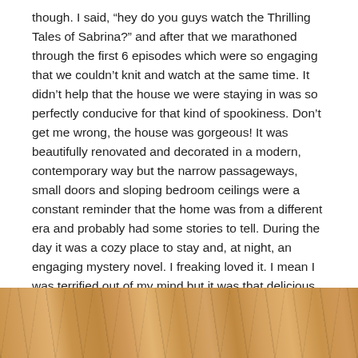though.  I said, “hey do you guys watch the Thrilling Tales of Sabrina?” and after that we marathoned through the first 6 episodes which were so engaging that we couldn’t knit and watch at the same time.  It didn’t help that the house we were staying in was so perfectly conducive for that kind of spookiness.  Don’t get me wrong, the house was gorgeous!  It was beautifully renovated and decorated in a modern, contemporary way but the narrow passageways, small doors and sloping bedroom ceilings were a constant reminder that the home was from a different era and probably had some stories to tell. During the day it was a cozy place to stay and, at night, an engaging mystery novel.  I freaking loved it.  I mean I was terrified out of my mind but it was that delicious terror that makes you want more, like spooky stories around a campfire or haunted walks in a cemetery kind of thing.  Other people might not think so though.  I have to admit to a wickedly over active imagination which I don’t apologize for even in the slightest.
[Figure (photo): A close-up photo of a diagonal wood floor pattern with light brown/oak-colored wooden planks arranged in a herringbone or diagonal style.]